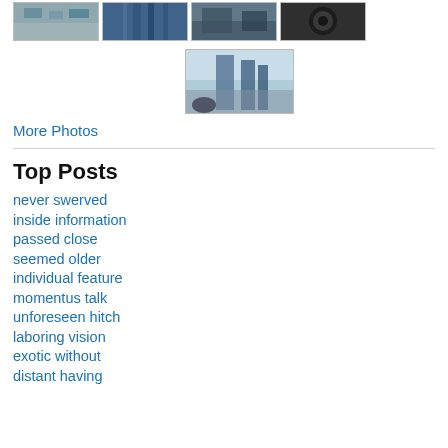[Figure (photo): Row of four small thumbnail photos showing urban/street scenes]
[Figure (photo): Single larger thumbnail photo showing looking up at tall buildings]
More Photos
Top Posts
never swerved
inside information
passed close
seemed older
individual feature
momentus talk
unforeseen hitch
laboring vision
exotic without
distant having